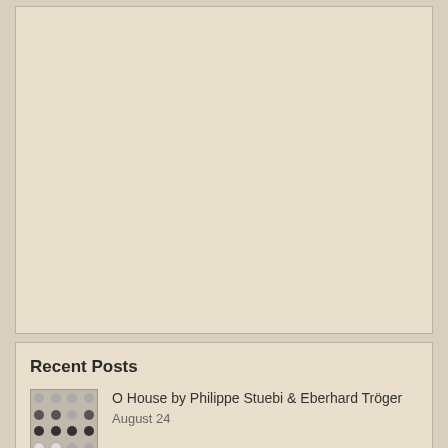[Figure (other): Large empty beige/tan content area box, placeholder image region]
Recent Posts
[Figure (photo): Small thumbnail photo showing a grid of circular objects/knobs]
O House by Philippe Stuebi & Eberhard Tröger
August 24